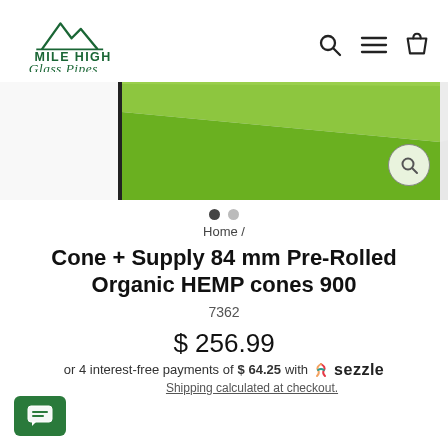[Figure (logo): Mile High Glass Pipes logo with mountain icon and green script text]
[Figure (photo): Product photo showing green and white packaging box corner on white background]
Home /
Cone + Supply 84 mm Pre-Rolled Organic HEMP cones 900
7362
$ 256.99
or 4 interest-free payments of $64.25 with Sezzle
Shipping calculated at checkout.